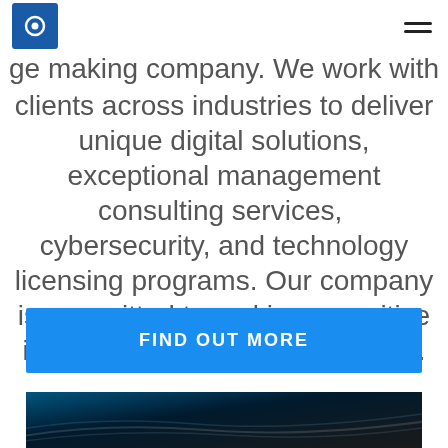[logo] [hamburger menu]
ge making company. We work with clients across industries to deliver unique digital solutions, exceptional management consulting services,  cybersecurity, and technology licensing programs. Our company is committed to making a positive impact on people and industries.
FIND OUT MORE
[Figure (photo): Dark curved surface image at the bottom of the page]